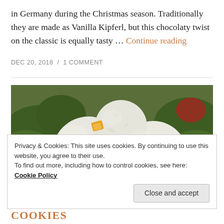in Germany during the Christmas season. Traditionally they are made as Vanilla Kipferl, but this chocolaty twist on the classic is equally tasty … Continue reading
DEC 20, 2018  /  1 COMMENT
[Figure (photo): White coconut-covered round cookies with orange candied fruit pieces on top, arranged in a red-striped bowl with Christmas greenery in the background.]
Privacy & Cookies: This site uses cookies. By continuing to use this website, you agree to their use.
To find out more, including how to control cookies, see here: Cookie Policy
Close and accept
COOKIES